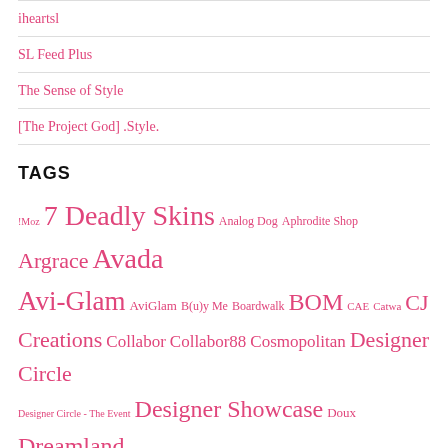iheartsl
SL Feed Plus
The Sense of Style
[The Project God] .Style.
TAGS
!Moz 7 Deadly Skins Analog Dog Aphrodite Shop Argrace Avada Avi-Glam AviGlam B(u)y Me Boardwalk BOM CAE Catwa CJ Creations Collabor Collabor88 Cosmopolitan Designer Circle Designer Circle - The Event Designer Showcase Doux Dreamland Designs eBENTO Elle Boutique Exile Exxess featured Foxcity